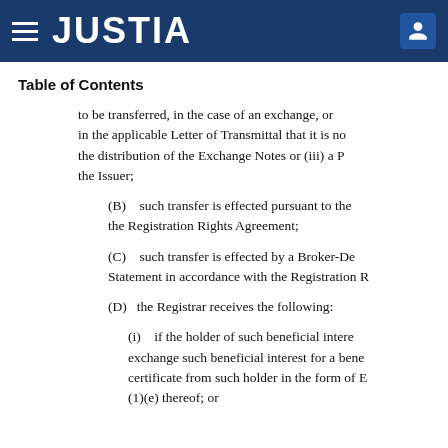JUSTIA
Table of Contents
to be transferred, in the case of an exchange, or in the applicable Letter of Transmittal that it is not the distribution of the Exchange Notes or (iii) a P the Issuer;
(B)   such transfer is effected pursuant to the the Registration Rights Agreement;
(C)   such transfer is effected by a Broker-De Statement in accordance with the Registration R
(D)   the Registrar receives the following:
(i)   if the holder of such beneficial intere exchange such beneficial interest for a bene certificate from such holder in the form of E (1)(e) thereof; or